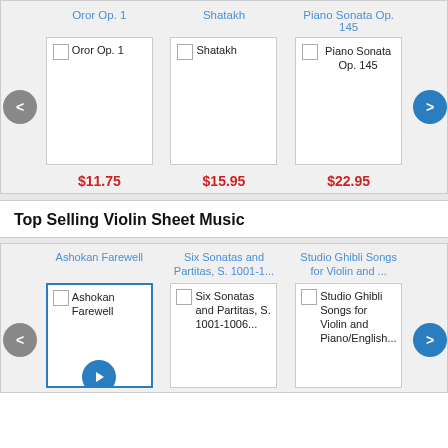[Figure (screenshot): Top carousel section showing three music sheet products: Oror Op. 1 ($11.75), Shatakh ($15.95), Piano Sonata Op. 145 ($22.95), with left and right navigation arrows]
Top Selling Violin Sheet Music
[Figure (screenshot): Bottom carousel section showing three violin sheet music products: Ashokan Farewell, Six Sonatas and Partitas S. 1001-1..., Studio Ghibli Songs for Violin and ..., with left and right navigation arrows]